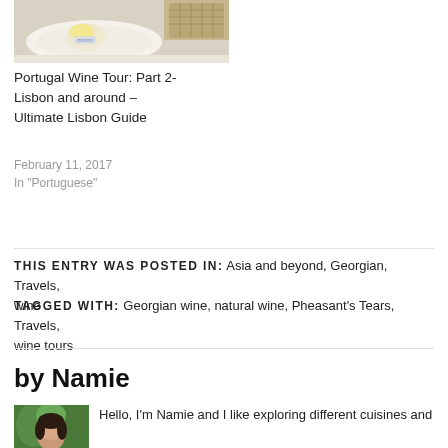[Figure (photo): Photo of a white plate with butter and a basket, food on table]
Portugal Wine Tour: Part 2- Lisbon and around – Ultimate Lisbon Guide
February 11, 2017
In "Portuguese"
THIS ENTRY WAS POSTED IN: Asia and beyond, Georgian, Travels, wine
TAGGED WITH: Georgian wine, natural wine, Pheasant's Tears, Travels, wine tours
by Namie
[Figure (photo): Portrait photo of Namie, a woman with dark hair]
Hello, I'm Namie and I like exploring different cuisines and